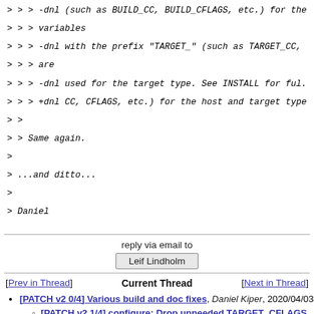> > > -dnl (such as BUILD_CC, BUILD_CFLAGS, etc.) for the
> > > variables
> > > -dnl with the prefix "TARGET_" (such as TARGET_CC,
> > > are
> > > -dnl used for the target type. See INSTALL for ful.
> > > +dnl CC, CFLAGS, etc.) for the host and target type
> >
> > Same again.
>
> ...and ditto...
>
> Daniel
reply via email to
Leif Lindholm
[Prev in Thread]    Current Thread    [Next in Thread]
[PATCH v2 0/4] Various build and doc fixes, Daniel Kiper, 2020/04/03
[PATCH v2 1/4] configure: Drop unneeded TARGET_CFLAGS expansion, Daniel Kiper, 2020/04/03
Re: [PATCH v2 1/4] configure: Drop unneeded TARGET_CFLAGS expansion,